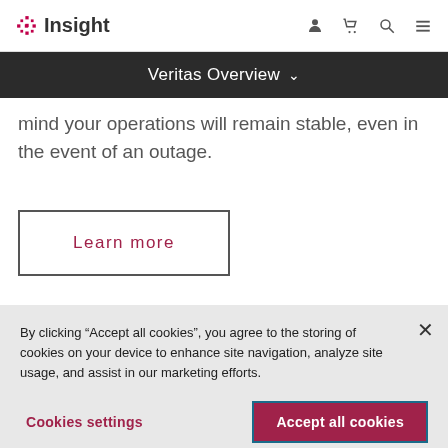Insight [logo] [user icon] [cart icon] [search icon] [menu icon]
Veritas Overview
mind your operations will remain stable, even in the event of an outage.
Learn more
By clicking “Accept all cookies”, you agree to the storing of cookies on your device to enhance site navigation, analyze site usage, and assist in our marketing efforts.
Cookies settings
Accept all cookies